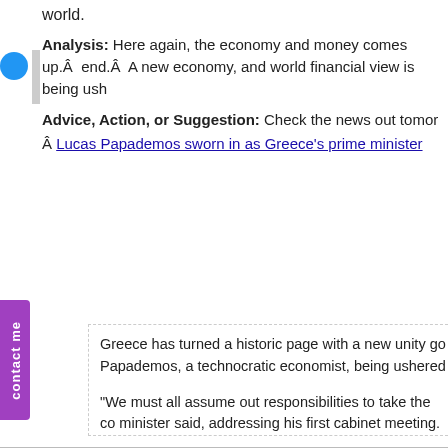world.
Analysis: Here again, the economy and money comes up.Â end.Â  A new economy, and world financial view is being ush
Advice, Action, or Suggestion: Check the news out tomor Â Lucas Papademos sworn in as Greece's prime minister
Greece has turned a historic page with a new unity go Papademos, a technocratic economist, being ushered
“We must all assume out responsibilities to take the co minister said, addressing his first cabinet meeting. “We historic times and it is imperative that we co-operate.”
“This is the end of one-party governments, this is the e and this is the end of the clientelistic system,” said cor “We have had to learn the hard way because of the ec will change.”